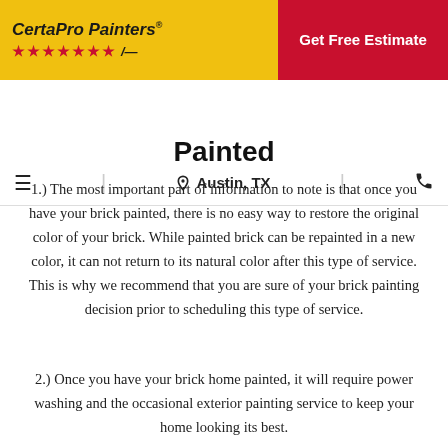CertaPro Painters® | Get Free Estimate
≡  Austin, TX  📞
Painted
1.) The most important part of information to note is that once you have your brick painted, there is no easy way to restore the original color of your brick. While painted brick can be repainted in a new color, it can not return to its natural color after this type of service. This is why we recommend that you are sure of your brick painting decision prior to scheduling this type of service.
2.) Once you have your brick home painted, it will require power washing and the occasional exterior painting service to keep your home looking its best.